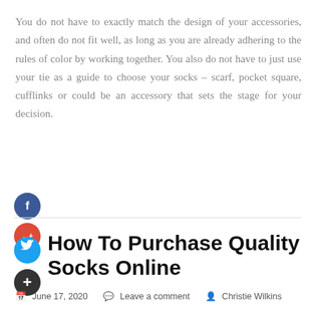You do not have to exactly match the design of your accessories, and often do not fit well, as long as you are already adhering to the rules of color by working together. You also do not have to just use your tie as a guide to choose your socks – scarf, pocket square, cufflinks or could be an accessory that sets the stage for your decision.
[Figure (illustration): Social media share buttons: Facebook (blue circle with f), Google+ (red circle with g+), divider line, Twitter (blue circle with bird icon), and a dark plus button]
How To Purchase Quality Socks Online
June 17, 2020   Leave a comment   Christie Wilkins